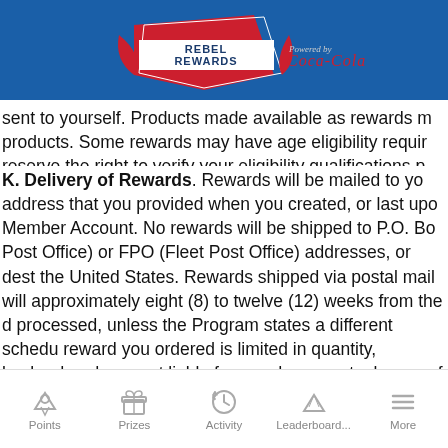[Figure (logo): Rebel Rewards logo powered by Coca-Cola on blue background header]
sent to yourself.  Products made available as rewards m products.  Some rewards may have age eligibility requir reserve the right to verify your eligibility qualifications p reward.
K. Delivery of Rewards.  Rewards will be mailed to yo address that you provided when you created, or last up Member Account.  No rewards will be shipped to P.O. Bo Post Office) or FPO (Fleet Post Office) addresses, or dest the United States.  Rewards shipped via postal mail will approximately eight (8) to twelve (12) weeks from the d processed, unless the Program states a different schedu reward you ordered is limited in quantity, backordered, are not liable for any damages to, losses of or delays in
Points  Prizes  Activity  Leaderboard...  More